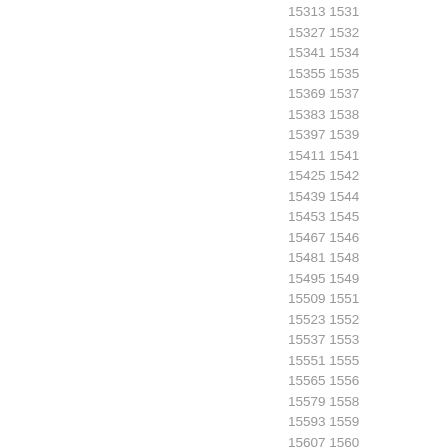15313 1531
15327 1532
15341 1534
15355 1535
15369 1537
15383 1538
15397 1539
15411 1541
15425 1542
15439 1544
15453 1545
15467 1546
15481 1548
15495 1549
15509 1551
15523 1552
15537 1553
15551 1555
15565 1556
15579 1558
15593 1559
15607 1560
15621 1562
15635 1563
15649 1565
15663 1566
15677 1567
15691 1569
15705 1570